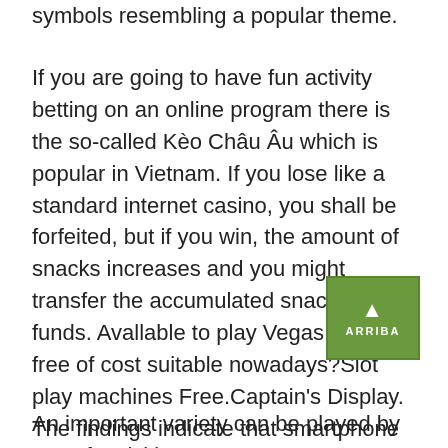symbols resembling a popular theme.
If you are going to have fun activity betting on an online program there is the so-called Kèo Châu Âu which is popular in Vietnam. If you lose like a standard internet casino, you shall be forfeited, but if you win, the amount of snacks increases and you might transfer the accumulated snacks into funds. Avallable to play Vegas slots for free of cost suitable nowadays?Slot play machines Free.Captain's Display. The findings indicate that smartphone gambling could be problematic for society, scheduled to the ease with which people psychologically predisposed to addiction can access betting games on their cellular phones-without ever having to set foot in a betting shop.
[Figure (other): Green button with upward arrow and text ARRIBA]
An important variety can be played by you of activities